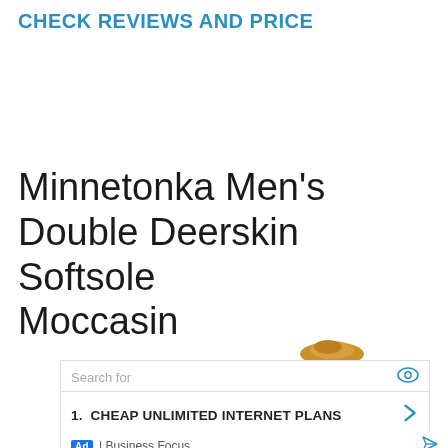CHECK REVIEWS AND PRICE
Minnetonka Men’s Double Deerskin Softsole Moccasin
Search for
1.  CHEAP UNLIMITED INTERNET PLANS
2.  HOMES FOR SALE BY OWNER
Ad | Business Focus